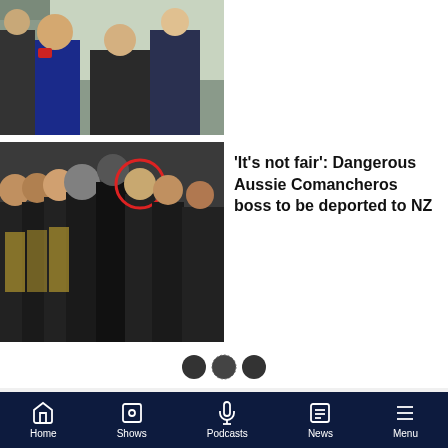[Figure (photo): Photo of people at a political event, man with red Labour rosette in blue suit]
[Figure (photo): Group photo of Comancheros motorcycle gang members in black and gold vests, one member circled in red]
'It's not fair': Dangerous Aussie Comancheros boss to be deported to NZ
[Figure (infographic): Three pagination dots]
CONNECT WITH NEWSTALK ZB:
[Figure (infographic): Facebook and Twitter social media buttons]
[Figure (infographic): Live radio bar with host photos, LIVE badge, Listen on iHeart Radio text, Sunday at Six show name, and play button]
Home  Shows  Podcasts  News  Menu